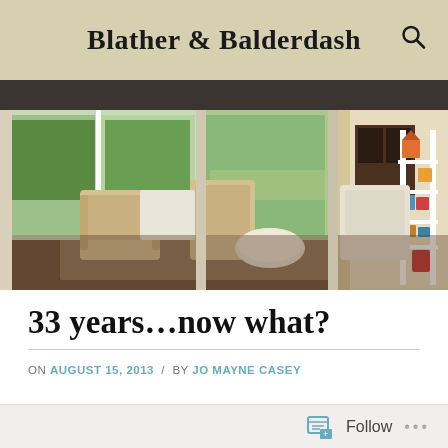Blather & Balderdash
[Figure (photo): A wide covered porch with white wicker furniture including chairs and a round ottoman, a porch swing, and a white ladder shelf displaying colorful birdhouses. The porch overlooks a green, wooded backyard.]
33 years...now what?
ON AUGUST 15, 2013 / BY JO MAYNE CASEY
Follow